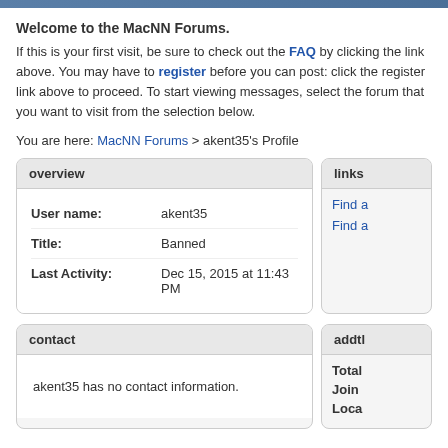Welcome to the MacNN Forums.
If this is your first visit, be sure to check out the FAQ by clicking the link above. You may have to register before you can post: click the register link above to proceed. To start viewing messages, select the forum that you want to visit from the selection below.
You are here: MacNN Forums > akent35's Profile
overview
| Field | Value |
| --- | --- |
| User name: | akent35 |
| Title: | Banned |
| Last Activity: | Dec 15, 2015 at 11:43 PM |
links
Find a
Find a
contact
akent35 has no contact information.
addtl
Total
Join
Loca